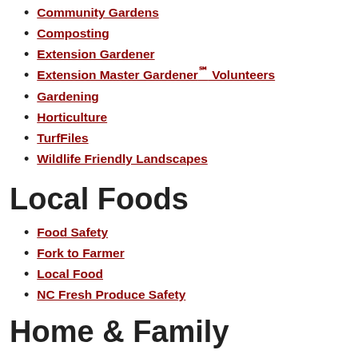Community Gardens
Composting
Extension Gardener
Extension Master Gardener℠ Volunteers
Gardening
Horticulture
TurfFiles
Wildlife Friendly Landscapes
Local Foods
Food Safety
Fork to Farmer
Local Food
NC Fresh Produce Safety
Home & Family
Family & Consumer Sciences Program
Healthy Homes